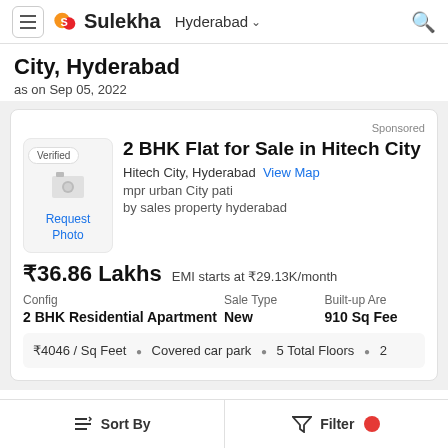Sulekha — Hyderabad
City, Hyderabad
as on Sep 05, 2022
Sponsored
Verified
Request Photo
2 BHK Flat for Sale in Hitech City
Hitech City, Hyderabad  View Map
mpr urban City pati
by sales property hyderabad
₹36.86 Lakhs   EMI starts at ₹29.13K/month
| Config | Sale Type | Built-up Are |
| --- | --- | --- |
| 2 BHK Residential Apartment | New | 910 Sq Fee |
₹4046 / Sq Feet  •  Covered car park  •  5 Total Floors  •  2
Security...24/7...amenities...12 amenities
Sort By   Filter